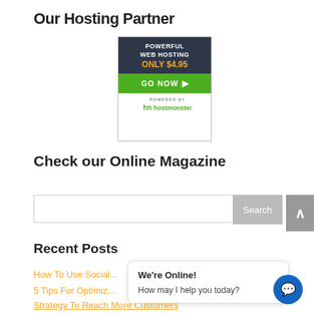Our Hosting Partner
[Figure (infographic): HostMonster web hosting advertisement banner. Dark navy top section with text: POWERFUL WEB HOSTING ONLY $4.95. Green button: GO NOW with arrow. White bottom section: POWERED BY hostmonster logo.]
Check our Online Magazine
[Figure (screenshot): Search bar with placeholder and 'Search' button on right]
Recent Posts
How To Use Social...
5 Tips For Optimiz...
Strategy To Reach More Customers
We're Online! How may I help you today?